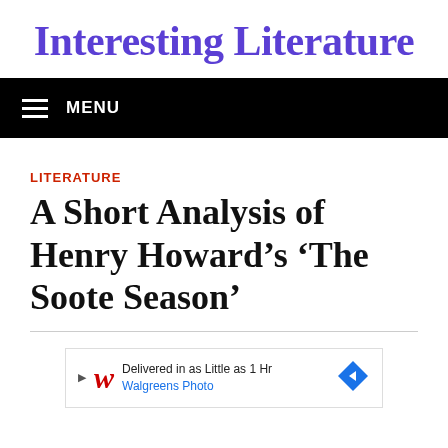Interesting Literature
MENU
LITERATURE
A Short Analysis of Henry Howard's 'The Soote Season'
[Figure (other): Advertisement for Walgreens Photo: 'Delivered in as Little as 1 Hr / Walgreens Photo']